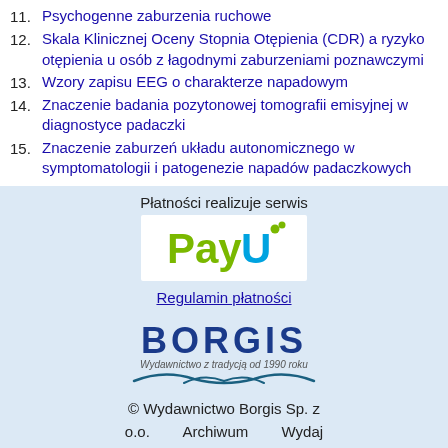11. Psychogenne zaburzenia ruchowe
12. Skala Klinicznej Oceny Stopnia Otępienia (CDR) a ryzyko otępienia u osób z łagodnymi zaburzeniami poznawczymi
13. Wzory zapisu EEG o charakterze napadowym
14. Znaczenie badania pozytonowej tomografii emisyjnej w diagnostyce padaczki
15. Znaczenie zaburzeń układu autonomicznego w symptomatologii i patogenezie napadów padaczkowych
Płatności realizuje serwis
[Figure (logo): PayU payment service logo — stylized text 'PayU' in green and blue with dots]
Regulamin płatności
[Figure (logo): Borgis publisher logo — bold blue text BORGIS with tagline 'Wydawnictwo z tradycją od 1990 roku' and decorative swirl]
© Wydawnictwo Borgis Sp. z o.o.    Archiwum    Wydaj habilitację...    Informacje dotyczące RODO